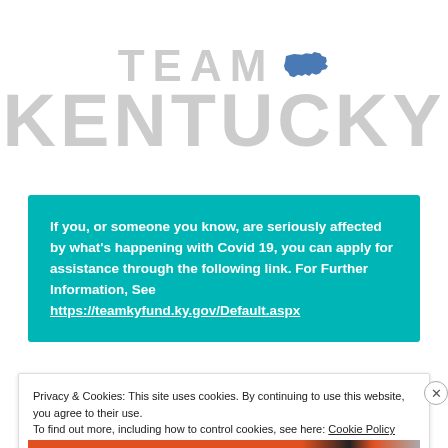[Figure (logo): Team Kentucky logo with large light gray text 'TEAM' and 'KENTUCKY' and a blue Kentucky state silhouette]
If you, or someone you know, are seriously affected by what's happening with Covid 19, you can apply for assistance through the following link. For Further Information, See https://teamkyfund.ky.gov/Default.aspx
Privacy & Cookies: This site uses cookies. By continuing to use this website, you agree to their use.
To find out more, including how to control cookies, see here: Cookie Policy
Close and accept